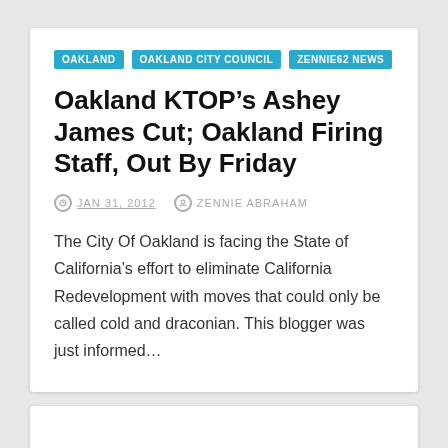OAKLAND
OAKLAND CITY COUNCIL
ZENNIE62 NEWS
Oakland KTOP’s Ashey James Cut; Oakland Firing Staff, Out By Friday
JAN 31, 2012  ZENNIE ABRAHAM
The City Of Oakland is facing the State of California’s effort to eliminate California Redevelopment with moves that could only be called cold and draconian. This blogger was just informed…